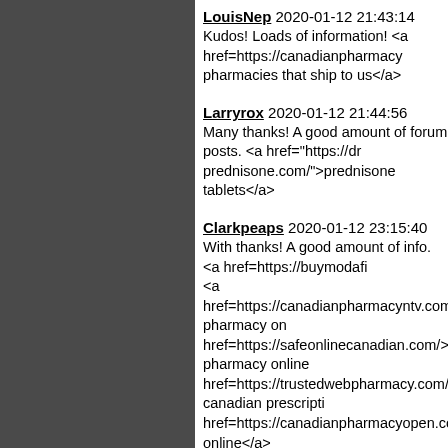LouisNep 2020-01-12 21:43:14
Kudos! Loads of information! <a href=https://canadianpharmacy pharmacies that ship to us</a>
Larryrox 2020-01-12 21:44:56
Many thanks! A good amount of forum posts. <a href="https://dr prednisone.com/">prednisone tablets</a>
Clarkpeaps 2020-01-12 23:15:40
With thanks! A good amount of info. <a href=https://buymodafi <a href=https://canadianpharmacyntv.com/>canada pharmacy on href=https://safeonlinecanadian.com/>canadian pharmacy online href=https://trustedwebpharmacy.com/>legal canadian prescripti href=https://canadianpharmacyopen.com/>pharmacy online</a> href=https://canadianpharmaciescubarx.com/>canada drugs</a> href=https://viaonlinebuymsn.com/>buy viagra without doctor p
Richardmon 2020-01-13 19:25:53
Thanks a lot. Excellent information. <a href="https://viagradocke a doctor prescription</a>
Tyronepes 2020-01-13 19:42:12
Regards. I value this. <a href="https://cbd-oil-trust.com/">cbd va
ErnestErula 2020-01-13 20:40:40
Amazing stuff. Appreciate it! <a href="https://bactrimprice.com/ 160</a>